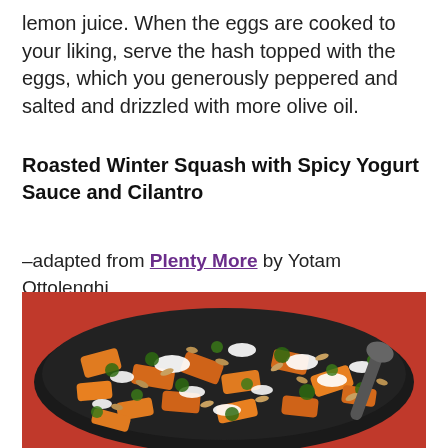lemon juice. When the eggs are cooked to your liking, serve the hash topped with the eggs, which you generously peppered and salted and drizzled with more olive oil.
Roasted Winter Squash with Spicy Yogurt Sauce and Cilantro
–adapted from Plenty More by Yotam Ottolenghi
[Figure (photo): A cast iron skillet filled with roasted winter squash pieces topped with white yogurt sauce drizzled over, green cilantro herb sauce, and pumpkin seeds, on a red background with a serving spoon visible.]